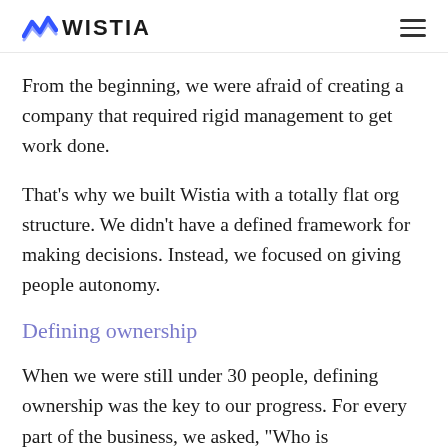WISTIA
From the beginning, we were afraid of creating a company that required rigid management to get work done.
That's why we built Wistia with a totally flat org structure. We didn't have a defined framework for making decisions. Instead, we focused on giving people autonomy.
Defining ownership
When we were still under 30 people, defining ownership was the key to our progress. For every part of the business, we asked, "Who is